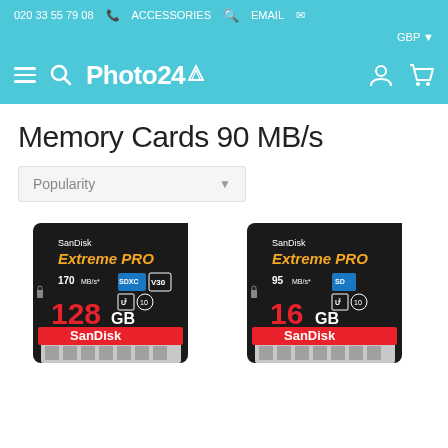020 33 55 79 08  ACCESSORIES  EMAIL
[Figure (logo): Photo24 logo in white text on teal navigation bar with hamburger menu, search icon, account icon, and cart icon]
Memory Cards 90 MB/s
Popularity
[Figure (photo): SanDisk Extreme PRO 128GB SD card, 170 MB/s, SDXC, V30, U3, Class 10]
[Figure (photo): SanDisk Extreme PRO 16GB SD card, 95 MB/s, SD, U3, Class 10]